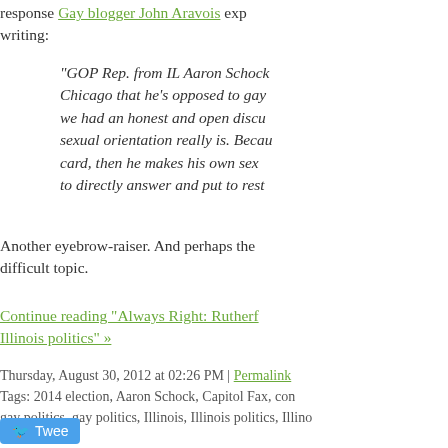response Gay blogger John Aravois exp writing:
"GOP Rep. from IL Aaron Schock Chicago that he's opposed to gay we had an honest and open discu sexual orientation really is. Becau card, then he makes his own sex to directly answer and put to rest
Another eyebrow-raiser. And perhaps the difficult topic.
Continue reading "Always Right: Rutherf Illinois politics" »
Thursday, August 30, 2012 at 02:26 PM | Permalink Tags: 2014 election, Aaron Schock, Capitol Fax, con gay politics, gay politics, Illinois, Illinois politics, Illino
[Figure (other): Tweet button with bird icon]
POOR AND HOMELESS THRO CAMP (VIDEO)
TAMPA - On Tuesday, during a Breitbart. "Romneyville" the protester welcoming